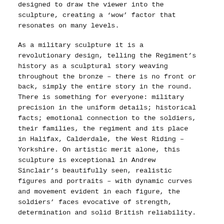designed to draw the viewer into the sculpture, creating a 'wow' factor that resonates on many levels.
As a military sculpture it is a revolutionary design, telling the Regiment's history as a sculptural story weaving throughout the bronze – there is no front or back, simply the entire story in the round. There is something for everyone: military precision in the uniform details; historical facts; emotional connection to the soldiers, their families, the regiment and its place in Halifax, Calderdale, the West Riding – Yorkshire. On artistic merit alone, this sculpture is exceptional in Andrew Sinclair's beautifully seen, realistic figures and portraits – with dynamic curves and movement evident in each figure, the soldiers' faces evocative of strength, determination and solid British reliability.
Andrew's other recent public commission, a life-size bronze sculpture of David Bowie